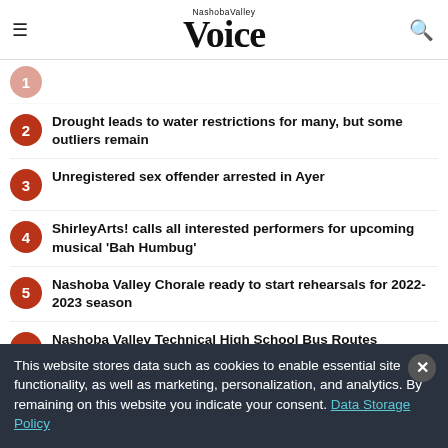Nashoba Valley Voice
2 Drought leads to water restrictions for many, but some outliers remain
3 Unregistered sex offender arrested in Ayer
4 ShirleyArts! calls all interested performers for upcoming musical 'Bah Humbug'
5 Nashoba Valley Chorale ready to start rehearsals for 2022-2023 season
6 Nashoba Valley Technical High School Bus Routes
This website stores data such as cookies to enable essential site functionality, as well as marketing, personalization, and analytics. By remaining on this website you indicate your consent. Data Storage Policy